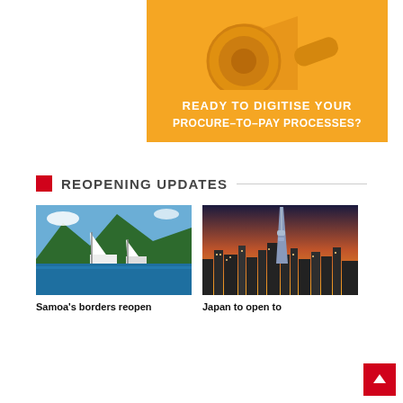[Figure (photo): Orange banner with megaphone/bullhorn image on orange background, with white bold text reading READY TO DIGITISE YOUR PROCURE-TO-PAY PROCESSES?]
REOPENING UPDATES
[Figure (photo): Photo of sailing boats in a tropical harbour with green mountains in the background]
Samoa's borders reopen
[Figure (photo): Photo of Tokyo skyline at dusk with Tokyo Skytree tower visible]
Japan to open to